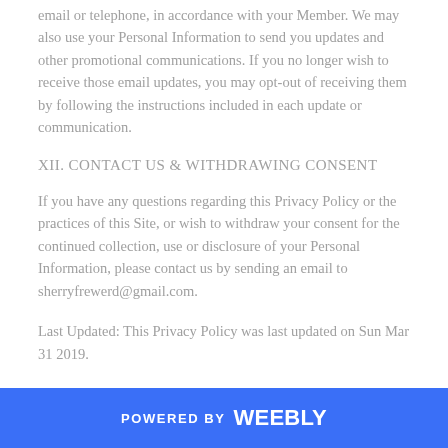email or telephone, in accordance with your Member. We may also use your Personal Information to send you updates and other promotional communications. If you no longer wish to receive those email updates, you may opt-out of receiving them by following the instructions included in each update or communication.
XII. CONTACT US & WITHDRAWING CONSENT
If you have any questions regarding this Privacy Policy or the practices of this Site, or wish to withdraw your consent for the continued collection, use or disclosure of your Personal Information, please contact us by sending an email to sherryfrewerd@gmail.com.
Last Updated: This Privacy Policy was last updated on Sun Mar 31 2019.
POWERED BY weebly